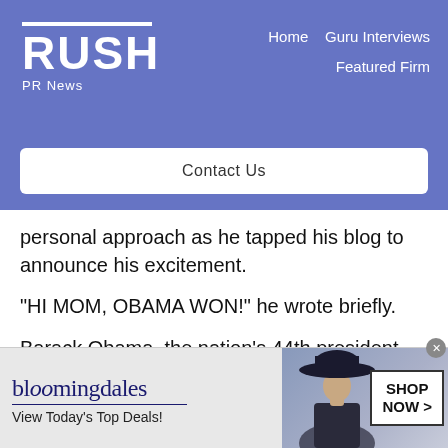RUSH PR News — Home | Guru Interviews | Featured Firm | Contact Us
personal approach as he tapped his blog to announce his excitement.
“HI MOM, OBAMA WON!” he wrote briefly.
Barack Obama, the nation’s 44th president, will be sworn into office on January 20, 2009.
[Figure (photo): Bloomingdale's advertisement banner: logo, tagline 'View Today's Top Deals!', woman in hat, 'SHOP NOW >' button.]